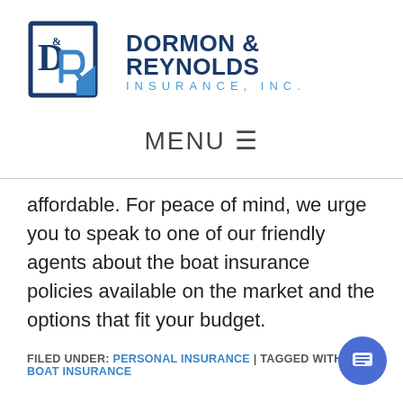[Figure (logo): Dormon & Reynolds Insurance, Inc. logo with D&R monogram in blue square and company name in dark blue and light blue text]
MENU ☰
affordable. For peace of mind, we urge you to speak to one of our friendly agents about the boat insurance policies available on the market and the options that fit your budget.
FILED UNDER: PERSONAL INSURANCE | TAGGED WITH: BOAT INSURANCE